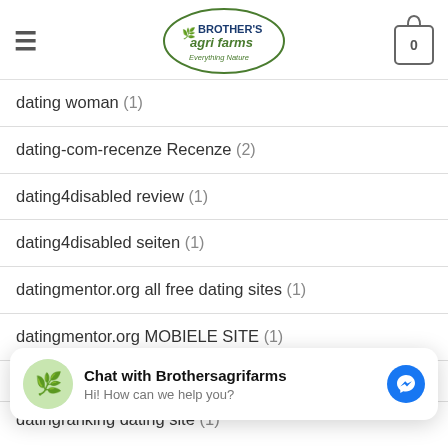BROTHER'S agri farms — Everything Nature
dating woman (1)
dating-com-recenze Recenze (2)
dating4disabled review (1)
dating4disabled seiten (1)
datingmentor.org all free dating sites (1)
datingmentor.org MOBIELE SITE (1)
datingmentor.org Mobile (1)
datingmentor.org real free dating sites (1)
Chat with Brothersagrifarms — Hi! How can we help you?
datingranking dating site (1)